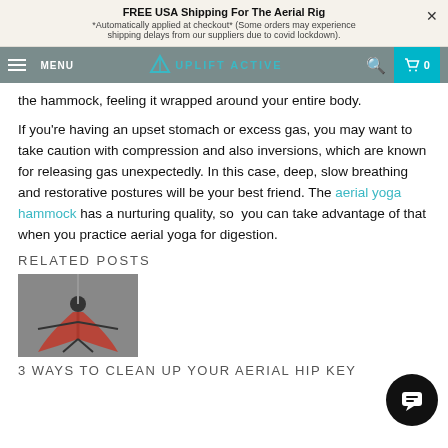FREE USA Shipping For The Aerial Rig
*Automatically applied at checkout* (Some orders may experience shipping delays from our suppliers due to covid lockdown).
[Figure (screenshot): Website navigation bar with hamburger menu, MENU text, Uplift Active logo, search icon, and cart icon on teal background]
the hammock, feeling it wrapped around your entire body.
If you're having an upset stomach or excess gas, you may want to take caution with compression and also inversions, which are known for releasing gas unexpectedly. In this case, deep, slow breathing and restorative postures will be your best friend. The aerial yoga hammock has a nurturing quality, so  you can take advantage of that when you practice aerial yoga for digestion.
RELATED POSTS
[Figure (photo): Person performing aerial yoga with a red hammock against a grey background]
3 WAYS TO CLEAN UP YOUR AERIAL HIP KEY